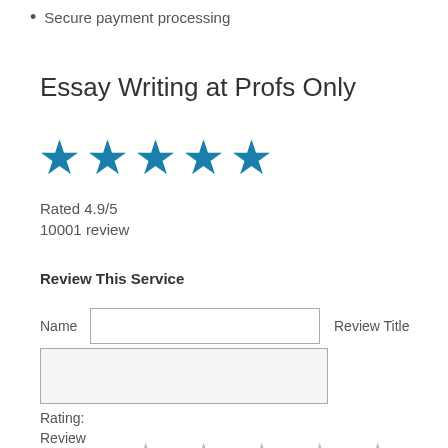Secure payment processing
Essay Writing at Profs Only
[Figure (other): Five filled blue stars rating graphic]
Rated 4.9/5
10001 review
Review This Service
Name   [input field]   Review Title
[textarea]
Rating:
[five empty stars]
Review